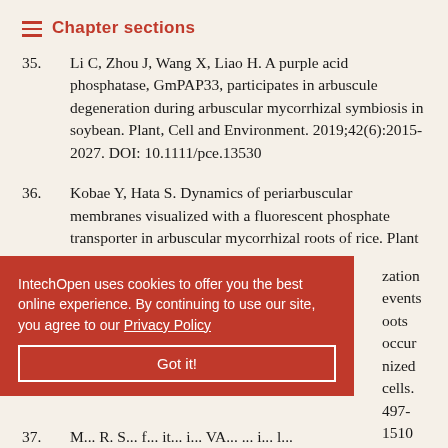Chapter sections
35. Li C, Zhou J, Wang X, Liao H. A purple acid phosphatase, GmPAP33, participates in arbuscule degeneration during arbuscular mycorrhizal symbiosis in soybean. Plant, Cell and Environment. 2019;42(6):2015-2027. DOI: 10.1111/pce.13530
36. Kobae Y, Hata S. Dynamics of periarbuscular membranes visualized with a fluorescent phosphate transporter in arbuscular mycorrhizal roots of rice. Plant and Cell ...zation events ...roots occur ...nized cells. ...497-1510
IntechOpen uses cookies to offer you the best online experience. By continuing to use our site, you agree to our Privacy Policy
Got it!